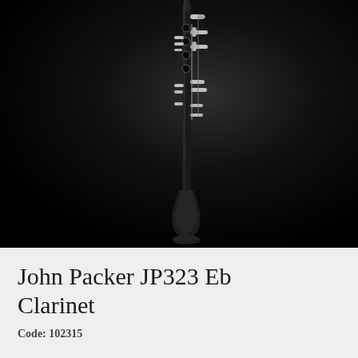[Figure (photo): A John Packer JP323 Eb Clarinet photographed vertically against a dark black background. The instrument has a dark black body with silver-colored keywork and mechanics. The bell is at the bottom and the upper joint with keys is visible. The lighting creates a dramatic effect with the instrument centered slightly right of middle.]
John Packer JP323 Eb Clarinet
Code: 102315